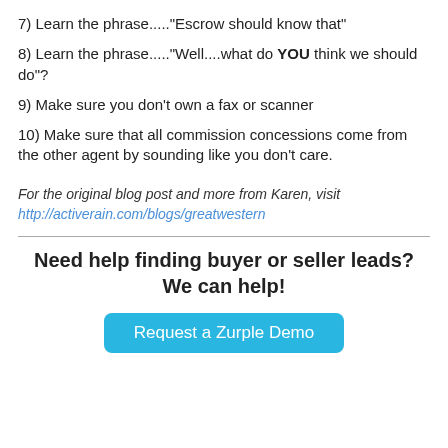7) Learn the phrase.....“Escrow should know that”
8) Learn the phrase.....“Well....what do YOU think we should do”?
9) Make sure you don’t own a fax or scanner
10) Make sure that all commission concessions come from the other agent by sounding like you don’t care.
For the original blog post and more from Karen, visit http://activerain.com/blogs/greatwestern
Need help finding buyer or seller leads? We can help!
Request a Zurple Demo